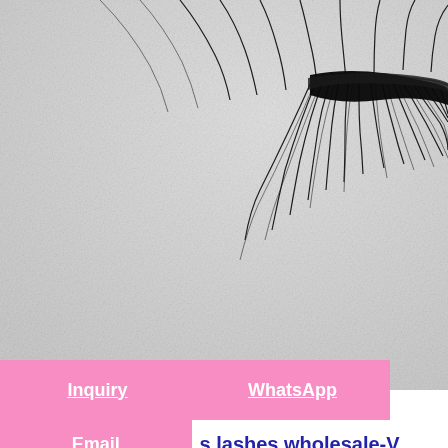[Figure (photo): Close-up photo of dramatic false eyelashes (3D mink style) on a white/light gray textured background. The lashes are voluminous, black, and fanned out. The image is cropped showing mainly the lash product from above, with the band and fanned lash fibers visible in the upper-right area.]
Inquiry
WhatsApp
Email
s lashes wholesale-V